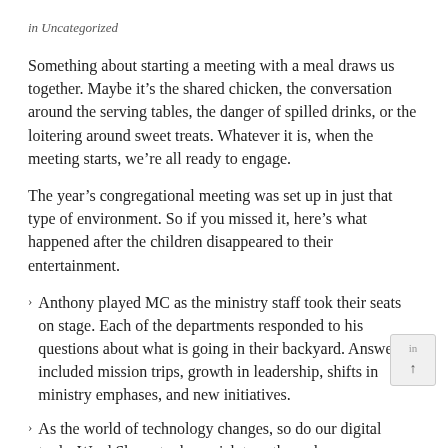in Uncategorized
Something about starting a meeting with a meal draws us together. Maybe it’s the shared chicken, the conversation around the serving tables, the danger of spilled drinks, or the loitering around sweet treats. Whatever it is, when the meeting starts, we’re all ready to engage.
The year’s congregational meeting was set up in just that type of environment. So if you missed it, here’s what happened after the children disappeared to their entertainment.
Anthony played MC as the ministry staff took their seats on stage. Each of the departments responded to his questions about what is going in their backyard. Answers included mission trips, growth in leadership, shifts in ministry emphases, and new initiatives.
As the world of technology changes, so do our digital tools. Ward Shone took a quick tour through many